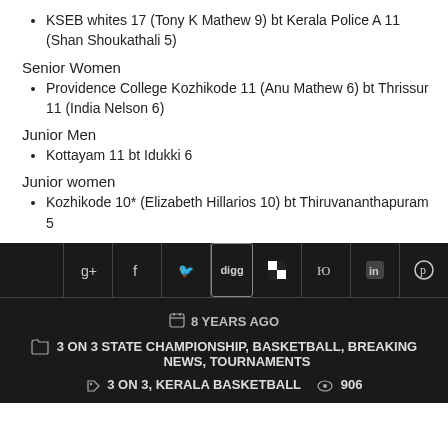KSEB whites 17 (Tony K Mathew 9) bt Kerala Police A 11 (Shan Shoukathali 5)
Senior Women
Providence College Kozhikode 11 (Anu Mathew 6) bt Thrissur 11 (India Nelson 6)
Junior Men
Kottayam 11 bt Idukki 6
Junior women
Kozhikode 10* (Elizabeth Hillarios 10) bt Thiruvananthapuram 5
[Figure (screenshot): Social media sharing icon bar with Google+, Facebook, Twitter, Digg, Delicious, StumbleUpon, LinkedIn, Pinterest icons on dark background]
8 YEARS AGO | 3 ON 3 STATE CHAMPIONSHIP, BASKETBALL, BREAKING NEWS, TOURNAMENTS | 3 ON 3, KERALA BASKETBALL | 906 views